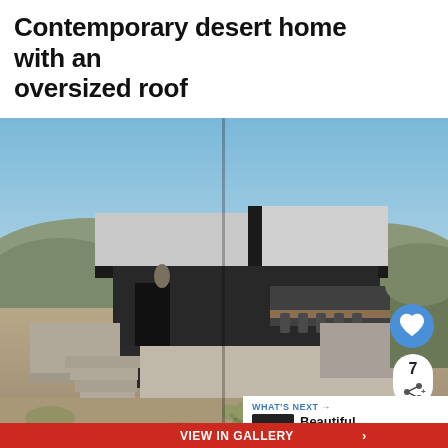Contemporary desert home with an oversized roof
[Figure (photo): Contemporary desert home with large flat oversized roof, dark facade, concrete steps, desert landscape with cacti and shrubs. UI overlay shows heart/like button (blue circle), share count of 7, and a 'What's Next' panel showing 'Beautiful Homes...' with a VIEW IN GALLERY button in red.]